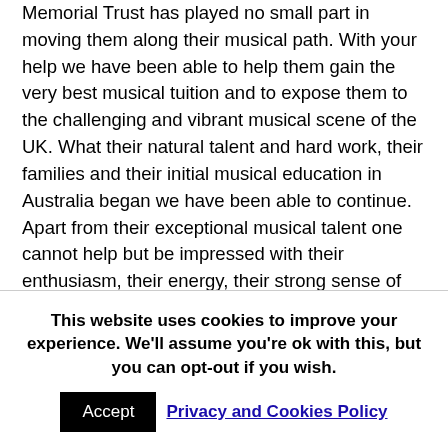Memorial Trust has played no small part in moving them along their musical path. With your help we have been able to help them gain the very best musical tuition and to expose them to the challenging and vibrant musical scene of the UK. What their natural talent and hard work, their families and their initial musical education in Australia began we have been able to continue. Apart from their exceptional musical talent one cannot help but be impressed with their enthusiasm, their energy, their strong sense of purpose and their total commitment to the pursuit of excellence. I so enjoyed speaking with Som, Chad, Yelian and Emily, as well as the other performers, after the concert and I am sure you will join me in wishing them all well
This website uses cookies to improve your experience. We'll assume you're ok with this, but you can opt-out if you wish.
Accept  Privacy and Cookies Policy